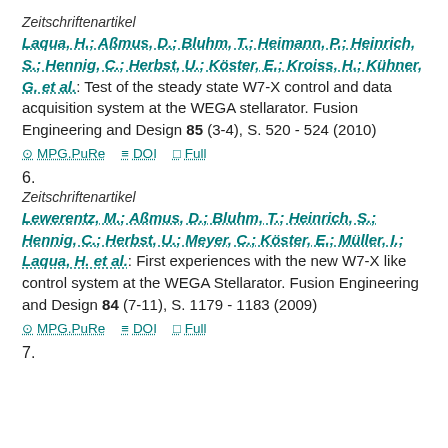Zeitschriftenartikel
Laqua, H.; Aßmus, D.; Bluhm, T.; Heimann, P.; Heinrich, S.; Hennig, C.; Herbst, U.; Köster, E.; Kroiss, H.; Kühner, G. et al.: Test of the steady state W7-X control and data acquisition system at the WEGA stellarator. Fusion Engineering and Design 85 (3-4), S. 520 - 524 (2010)
MPG.PuRe  DOI  Full
6.
Zeitschriftenartikel
Lewerentz, M.; Aßmus, D.; Bluhm, T.; Heinrich, S.; Hennig, C.; Herbst, U.; Meyer, C.; Köster, E.; Müller, I.; Laqua, H. et al.: First experiences with the new W7-X like control system at the WEGA Stellarator. Fusion Engineering and Design 84 (7-11), S. 1179 - 1183 (2009)
MPG.PuRe  DOI  Full
7.